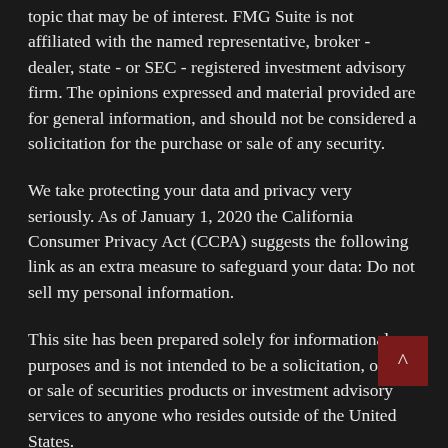topic that may be of interest. FMG Suite is not affiliated with the named representative, broker - dealer, state - or SEC - registered investment advisory firm. The opinions expressed and material provided are for general information, and should not be considered a solicitation for the purchase or sale of any security.
We take protecting your data and privacy very seriously. As of January 1, 2020 the California Consumer Privacy Act (CCPA) suggests the following link as an extra measure to safeguard your data: Do not sell my personal information.
This site has been prepared solely for informational purposes and is not intended to be a solicitation, offer, or sale of securities products or investment advisory services to anyone who resides outside of the United States.
Lincoln Investment and Capital Analysts are registered as investment advisors with the U.S. Securities and Exchange Commission, and Lincoln